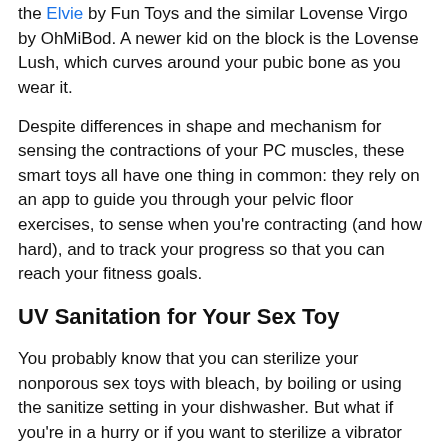the Elvie by Fun Toys and the similar Lovense Virgo by OhMiBod. A newer kid on the block is the Lovense Lush, which curves around your pubic bone as you wear it.
Despite differences in shape and mechanism for sensing the contractions of your PC muscles, these smart toys all have one thing in common: they rely on an app to guide you through your pelvic floor exercises, to sense when you're contracting (and how hard), and to track your progress so that you can reach your fitness goals.
UV Sanitation for Your Sex Toy
You probably know that you can sterilize your nonporous sex toys with bleach, by boiling or using the sanitize setting in your dishwasher. But what if you're in a hurry or if you want to sterilize a vibrator that cannot be submerged? Say 'Hello' to sex toy sanitizers.
Among the first was Dorr, but Uvee has entered the market with a bang!
However, in the review and the description it is one that...